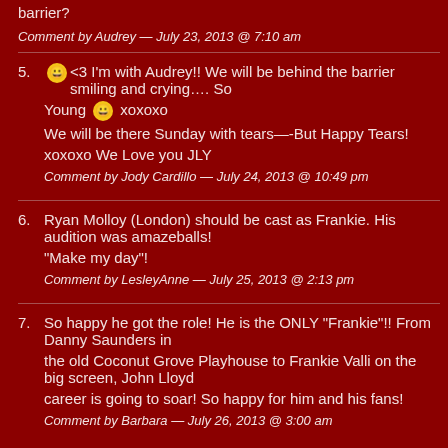barrier?
Comment by Audrey — July 23, 2013 @ 7:10 am
5. 😀 <3 I'm with Audrey!! We will be behind the barrier smiling and crying…. So [Young] 😀 xoxoxo
We will be there Sunday with tears—-But Happy Tears!
xoxoxo We Love you JLY
Comment by Jody Cardillo — July 24, 2013 @ 10:49 pm
6. Ryan Molloy (London) should be cast as Frankie. His audition was amazeballs! "Make my day"!
Comment by LesleyAnne — July 25, 2013 @ 2:13 pm
7. So happy he got the role! He is the ONLY "Frankie"!! From Danny Saunders in [the old Coconut Grove Playhouse to Frankie Valli on the big screen, John Lloyd] career is going to soar! So happy for him and his fans!
Comment by Barbara — July 26, 2013 @ 3:00 am